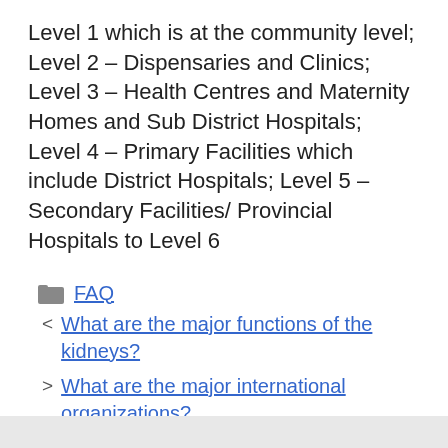Level 1 which is at the community level; Level 2 – Dispensaries and Clinics; Level 3 – Health Centres and Maternity Homes and Sub District Hospitals; Level 4 – Primary Facilities which include District Hospitals; Level 5 – Secondary Facilities/ Provincial Hospitals to Level 6
FAQ
< What are the major functions of the kidneys?
> What are the major international organizations?